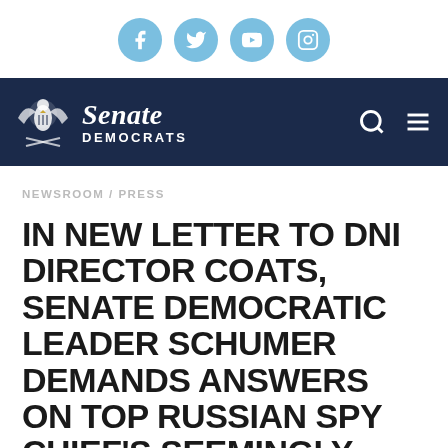[Figure (infographic): Social media icons: Facebook, Twitter, YouTube, Instagram — light blue circles with white icons]
Senate Democrats — navigation header with logo, search and menu icons
NEWSROOM / PRESS
IN NEW LETTER TO DNI DIRECTOR COATS, SENATE DEMOCRATIC LEADER SCHUMER DEMANDS ANSWERS ON TOP RUSSIAN SPY CHIEF'S SEEMINGLY